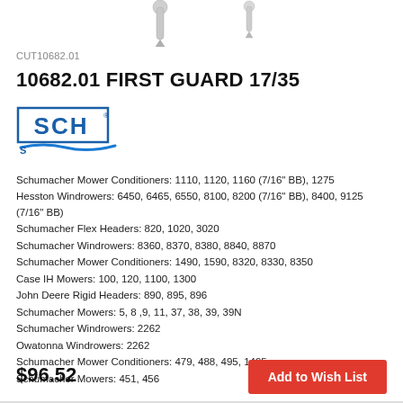[Figure (illustration): Two metal cutting guard blade parts shown from above on white background]
CUT10682.01
10682.01 FIRST GUARD 17/35
[Figure (logo): SCH Schumacher logo in blue with arrow]
Schumacher Mower Conditioners: 1110, 1120, 1160 (7/16" BB), 1275
Hesston Windrowers: 6450, 6465, 6550, 8100, 8200 (7/16" BB), 8400, 9125 (7/16" BB)
Schumacher Flex Headers: 820, 1020, 3020
Schumacher Windrowers: 8360, 8370, 8380, 8840, 8870
Schumacher Mower Conditioners: 1490, 1590, 8320, 8330, 8350
Case IH Mowers: 100, 120, 1100, 1300
John Deere Rigid Headers: 890, 895, 896
Schumacher Mowers: 5, 8 ,9, 11, 37, 38, 39, 39N
Schumacher Windrowers: 2262
Owatonna Windrowers: 2262
Schumacher Mower Conditioners: 479, 488, 495, 1495
Schumacher Mowers: 451, 456
$96.52